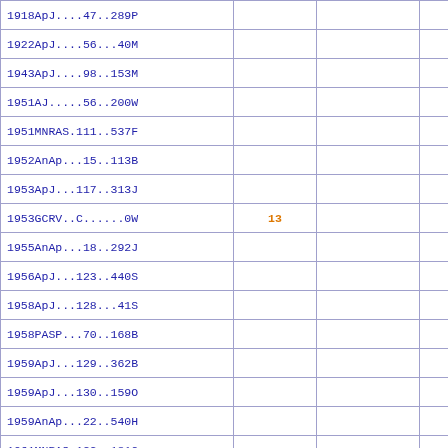| Reference |  |  |  |
| --- | --- | --- | --- |
| 1918ApJ....47..289P |  |  |  |
| 1922ApJ....56...40M |  |  |  |
| 1943ApJ....98..153M |  |  |  |
| 1951AJ.....56..200W |  |  |  |
| 1951MNRAS.111..537F |  |  |  |
| 1952AnAp...15..113B |  |  |  |
| 1953ApJ...117..313J |  |  |  |
| 1953GCRV..C......0W | 13 |  | D |
| 1955AnAp...18..292J |  |  |  |
| 1956ApJ...123..440S |  |  |  |
| 1958ApJ...128...41S |  |  |  |
| 1958PASP...70..168B |  |  |  |
| 1959ApJ...129..362B |  |  |  |
| 1959ApJ...130..159O |  |  |  |
| 1959AnAp...22..540H |  |  |  |
| 1961MNRAS.122..181G |  |  |  |
| 1963ApJ...137..530C |  |  |  |
| 1963ApJ...138..118S |  |  |  |
| 1963BAN....17..115J |  |  |  |
| 1963BAN....17..104U |  |  |  |